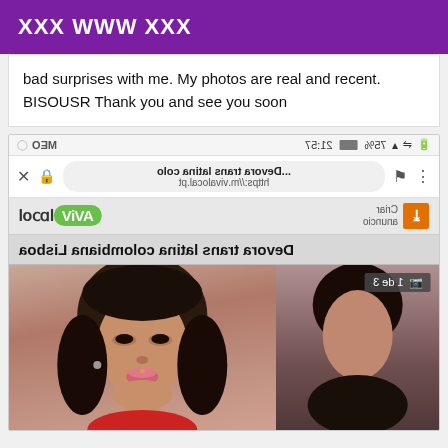XXX WWW XXX
bad surprises with me. My photos are real and recent. BISOUSR Thank you and see you soon
[Figure (screenshot): A mirrored/flipped screenshot of a mobile browser showing a VivaLocal classified ad page titled 'Devora trans latina colombiana Lisboa' with a photo of a woman.]